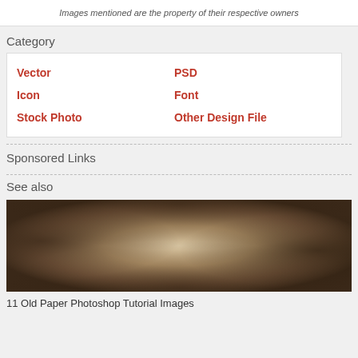Images mentioned are the property of their respective owners
Category
| Vector | PSD |
| Icon | Font |
| Stock Photo | Other Design File |
Sponsored Links
See also
[Figure (photo): Old paper texture image, dark brown edges fading to light tan center]
11 Old Paper Photoshop Tutorial Images